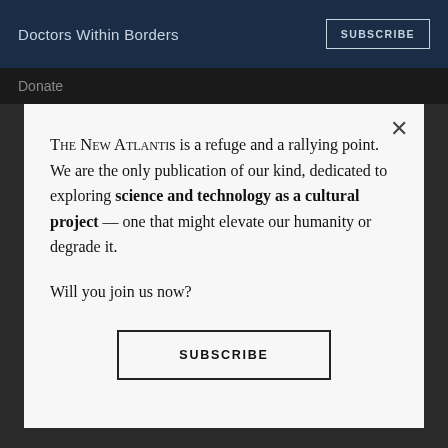Doctors Within Borders
SUBSCRIBE
Donate
THE NEW ATLANTIS is a refuge and a rallying point. We are the only publication of our kind, dedicated to exploring science and technology as a cultural project — one that might elevate our humanity or degrade it.
Will you join us now?
SUBSCRIBE